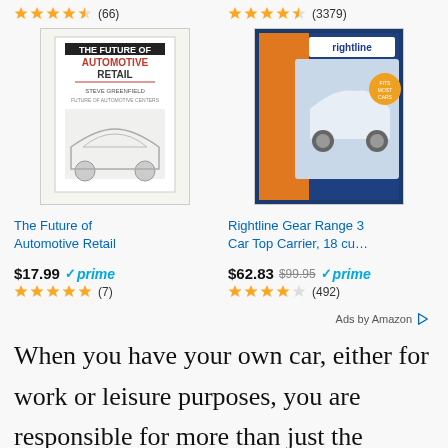[Figure (screenshot): Amazon product ad section showing two products with star ratings, images, titles, prices, and prime badge. Top row shows ratings: 4.5 stars (66) and 4.5 stars (3379). Products shown: 'The Future of Automotive Retail' book at $17.99 prime with 5 stars (7), and 'Rightline Gear Range 3 Car Top Carrier, 18 cu...' at $62.83 (was $99.95) prime with 4 stars (492). Bottom shows 'Ads by Amazon' label.]
When you have your own car, either for work or leisure purposes, you are responsible for more than just the driving itself. There are several costs that can be associated with being a vehicle owner that you might want to consider. By